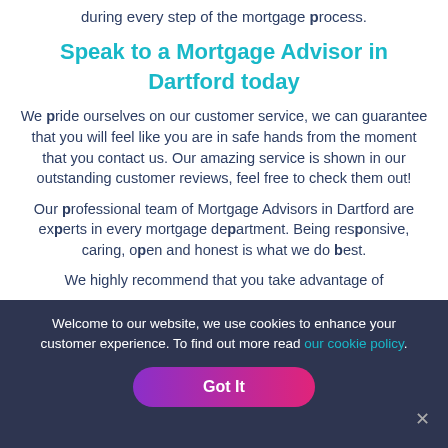during every step of the mortgage process.
Speak to a Mortgage Advisor in Dartford today
We pride ourselves on our customer service, we can guarantee that you will feel like you are in safe hands from the moment that you contact us. Our amazing service is shown in our outstanding customer reviews, feel free to check them out!
Our professional team of Mortgage Advisors in Dartford are experts in every mortgage department. Being responsive, caring, open and honest is what we do best.
We highly recommend that you take advantage of
Welcome to our website, we use cookies to enhance your customer experience. To find out more read our cookie policy.
Got It